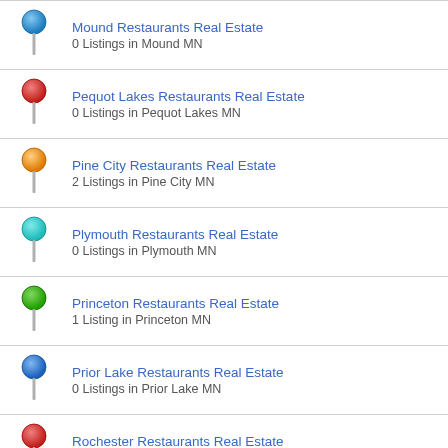Mound Restaurants Real Estate
0 Listings in Mound MN
Pequot Lakes Restaurants Real Estate
0 Listings in Pequot Lakes MN
Pine City Restaurants Real Estate
2 Listings in Pine City MN
Plymouth Restaurants Real Estate
0 Listings in Plymouth MN
Princeton Restaurants Real Estate
1 Listing in Princeton MN
Prior Lake Restaurants Real Estate
0 Listings in Prior Lake MN
Rochester Restaurants Real Estate
1 Listing in Rochester MN